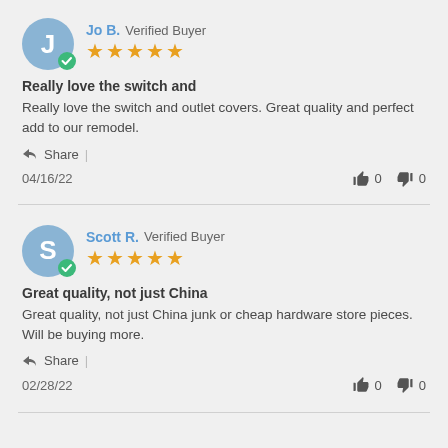Jo B. Verified Buyer ★★★★★
Really love the switch and
Really love the switch and outlet covers. Great quality and perfect add to our remodel.
Share |
04/16/22   👍 0   👎 0
Scott R. Verified Buyer ★★★★★
Great quality, not just China
Great quality, not just China junk or cheap hardware store pieces. Will be buying more.
Share |
02/28/22   👍 0   👎 0